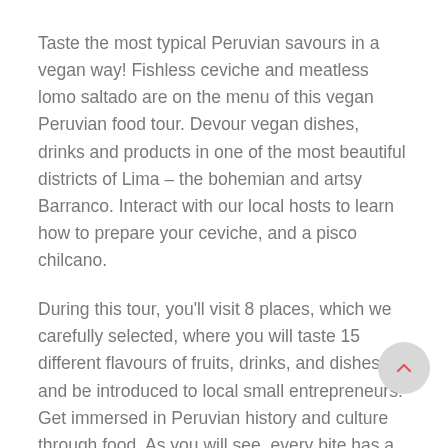Taste the most typical Peruvian savours in a vegan way! Fishless ceviche and meatless lomo saltado are on the menu of this vegan Peruvian food tour. Devour vegan dishes, drinks and products in one of the most beautiful districts of Lima – the bohemian and artsy Barranco. Interact with our local hosts to learn how to prepare your ceviche, and a pisco chilcano.
During this tour, you'll visit 8 places, which we carefully selected, where you will taste 15 different flavours of fruits, drinks, and dishes, and be introduced to local small entrepreneurs. Get immersed in Peruvian history and culture through food. As you will see, every bite has a story to te
Please note: according to your preferences, you